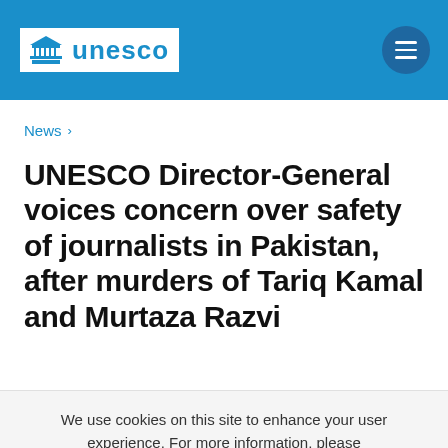UNESCO
News >
UNESCO Director-General voices concern over safety of journalists in Pakistan, after murders of Tariq Kamal and Murtaza Razvi
We use cookies on this site to enhance your user experience. For more information, please